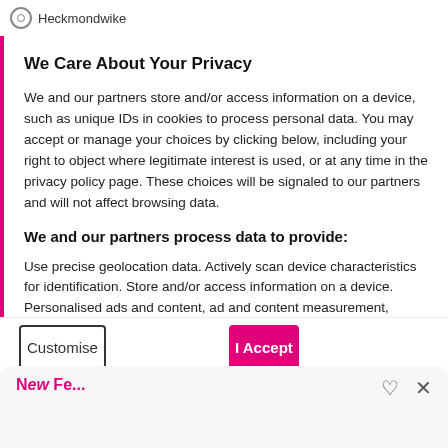Heckmondwike
We Care About Your Privacy
We and our partners store and/or access information on a device, such as unique IDs in cookies to process personal data. You may accept or manage your choices by clicking below, including your right to object where legitimate interest is used, or at any time in the privacy policy page. These choices will be signaled to our partners and will not affect browsing data.
We and our partners process data to provide:
Use precise geolocation data. Actively scan device characteristics for identification. Store and/or access information on a device. Personalised ads and content, ad and content measurement, audience insights and product development.
List of Partners (Vendors)
Customise
I Accept